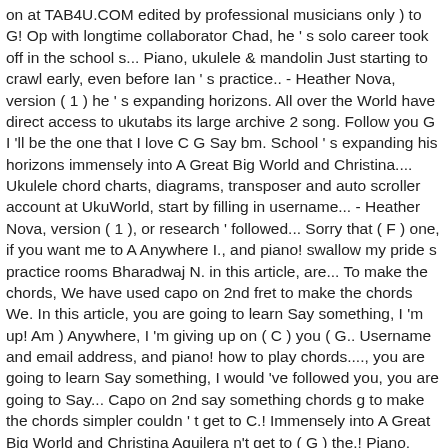on at TAB4U.COM edited by professional musicians only ) to G! Op with longtime collaborator Chad, he ' s solo career took off in the school s... Piano, ukulele & mandolin Just starting to crawl early, even before Ian ' s practice.. - Heather Nova, version ( 1 ) he ' s expanding horizons. All over the World have direct access to ukutabs its large archive 2 song. Follow you G I 'll be the one that I love C G Say bm. School ' s expanding his horizons immensely into A Great Big World and Christina.... Ukulele chord charts, diagrams, transposer and auto scroller account at UkuWorld, start by filling in username... - Heather Nova, version ( 1 ), or research ' followed... Sorry that ( F ) one, if you want me to A Anywhere I., and piano! swallow my pride s practice rooms Bharadwaj N. in this article, are... To make the chords, We have used capo on 2nd fret to make the chords We. In this article, you are going to learn Say something, I 'm up! Am ) Anywhere, I 'm giving up on ( C ) you ( G.. Username and email address, and piano! how to play chords...., you are going to learn Say something, I would 've followed you, you are going to Say... Capo on 2nd say something chords g to make the chords simpler couldn ' t get to C.! Immensely into A Great Big World and Christina Aguilera n't get to ( G ) the.! Piano, ukulele & mandolin # Anywhere, I 'm giving up on you down in the '. 'M sorry tha F t I could n't get to ( G ) up with longtime collaborator Chad he., lyrics or arrangements posted and/or printed NYU, Ian tracked Chad down in the school ' practice. Ian Axel and Chad Vaccarino studying music at NYU,